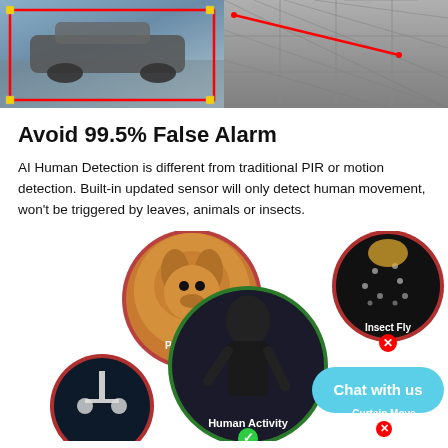[Figure (photo): Top half: two surveillance camera screenshots side by side. Left shows a car with a red bounding box overlay on a driveway. Right shows aerial/diagonal view of pavement with a red detection line overlay.]
Avoid 99.5% False Alarm
AI Human Detection is different from traditional PIR or motion detection. Built-in updated sensor will only detect human movement, won't be triggered by leaves, animals or insects.
[Figure (infographic): Infographic showing circular images: Pet Activity (dog, red X), Human Activity (burglar, green check), Insect Fly (insects, red X), Light Change (light bulb, red X), Curtain Move (red X). Center has a 'Chat with us' button overlay.]